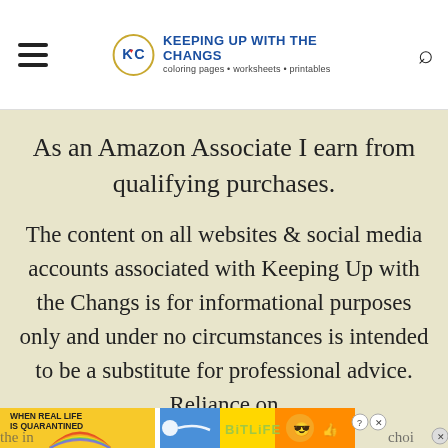KEEPING UP WITH THE CHANGS — coloring pages • worksheets • printables
As an Amazon Associate I earn from qualifying purchases.
The content on all websites & social media accounts associated with Keeping Up with the Changs is for informational purposes only and under no circumstances is intended to be a substitute for professional advice. Reliance on the in[formation is solely at the user's own choi]ce